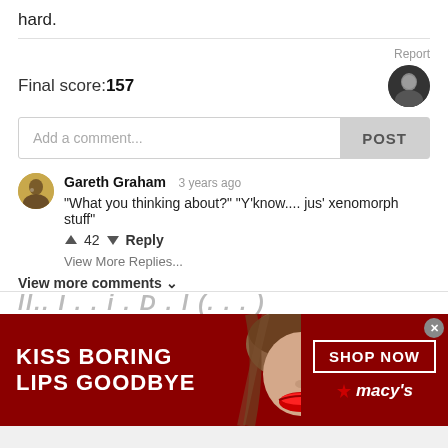hard.
Report
Final score:157
Add a comment...  POST
Gareth Graham  3 years ago
"What you thinking about?" "Y'know.... jus' xenomorph stuff"
↑ 42 ↓  Reply
View More Replies...
View more comments ∨
[Figure (screenshot): Partially visible text from next page section, stylized italic letters]
[Figure (infographic): Macy's ad banner: dark red background with woman's face, text 'KISS BORING LIPS GOODBYE', 'SHOP NOW', Macy's star logo]